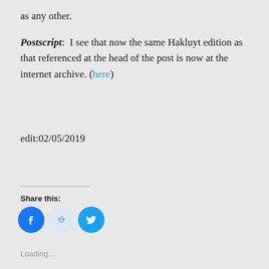as any other.
Postscript:  I see that now the same Hakluyt edition as that referenced at the head of the post is now at the internet archive. (here)
edit:02/05/2019
Share this:
[Figure (infographic): Three social share icon buttons: Facebook (blue circle with F icon), Reddit (light blue circle with Reddit alien icon), Twitter (blue circle with bird icon)]
Loading...